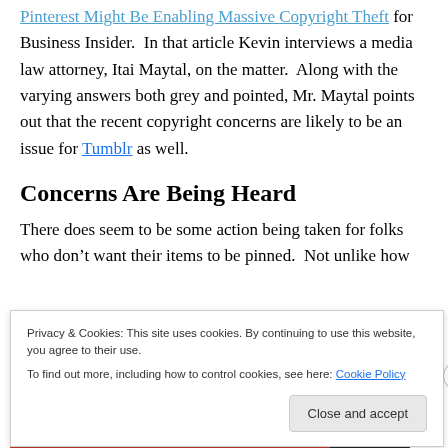Pinterest Might Be Enabling Massive Copyright Theft for Business Insider. In that article Kevin interviews a media law attorney, Itai Maytal, on the matter. Along with the varying answers both grey and pointed, Mr. Maytal points out that the recent copyright concerns are likely to be an issue for Tumblr as well.
Concerns Are Being Heard
There does seem to be some action being taken for folks who don't want their items to be pinned. Not unlike how
Privacy & Cookies: This site uses cookies. By continuing to use this website, you agree to their use.
To find out more, including how to control cookies, see here: Cookie Policy
Close and accept